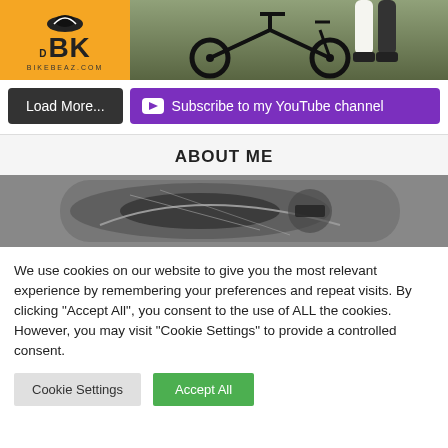[Figure (photo): Website header showing BK BikeReaz.com logo on orange background and a partial photo of a black road bicycle with green background]
Load More...
Subscribe to my YouTube channel
ABOUT ME
[Figure (photo): Black and white close-up photo of a bicycle bag or saddlebag with mesh and straps]
We use cookies on our website to give you the most relevant experience by remembering your preferences and repeat visits. By clicking "Accept All", you consent to the use of ALL the cookies. However, you may visit "Cookie Settings" to provide a controlled consent.
Cookie Settings
Accept All